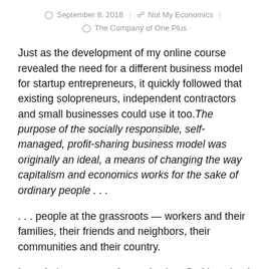September 8, 2018 | Not My Economics | The Company of One Plus
Just as the development of my online course revealed the need for a different business model for startup entrepreneurs, it quickly followed that existing solopreneurs, independent contractors and small businesses could use it too. The purpose of the socially responsible, self-managed, profit-sharing business model was originally an ideal, a means of changing the way capitalism and economics works for the sake of ordinary people . . .
. . . people at the grassroots — workers and their families, their friends and neighbors, their communities and their country.
I needed some sort of organization. So I imagined The Company of One Plus (TCO+). It would be the pilot of all pilots built around the disruptive business